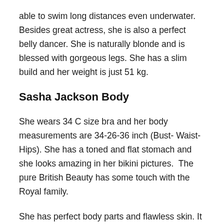able to swim long distances even underwater. Besides great actress, she is also a perfect belly dancer. She is naturally blonde and is blessed with gorgeous legs. She has a slim build and her weight is just 51 kg.
Sasha Jackson Body
She wears 34 C size bra and her body measurements are 34-26-36 inch (Bust- Waist- Hips). She has a toned and flat stomach and she looks amazing in her bikini pictures.  The pure British Beauty has some touch with the Royal family.
She has perfect body parts and flawless skin. It is really sad for her followers but she never discloses her diet plan and works out on Twitter or other websites. Who